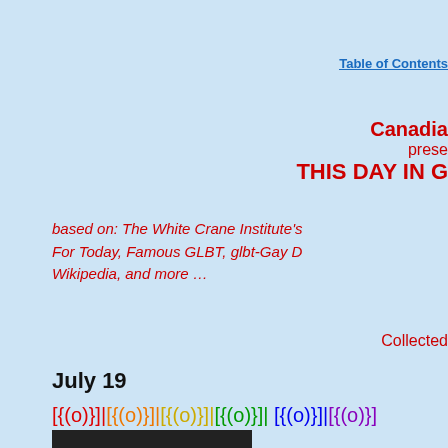Table of Contents
Canada... presents THIS DAY IN G...
based on: The White Crane Institute's For Today, Famous GLBT, glbt-Gay D... Wikipedia, and more …
Collected...
July 19
[{(o)}]|[{(o)}]|[{(o)}]|[{(o)}]| [{(o)}]|[{(o)}]
[Figure (photo): Dark photograph, partially visible at bottom of page]